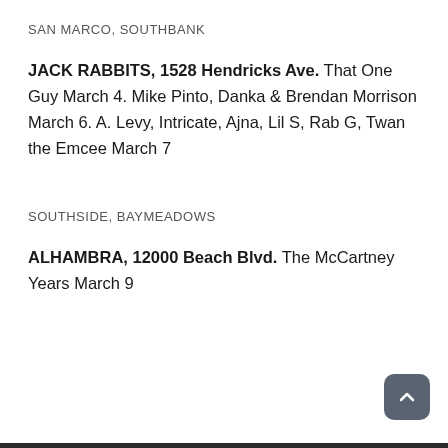SAN MARCO, SOUTHBANK
JACK RABBITS, 1528 Hendricks Ave. That One Guy March 4. Mike Pinto, Danka & Brendan Morrison March 6. A. Levy, Intricate, Ajna, Lil S, Rab G, Twan the Emcee March 7
SOUTHSIDE, BAYMEADOWS
ALHAMBRA, 12000 Beach Blvd. The McCartney Years March 9